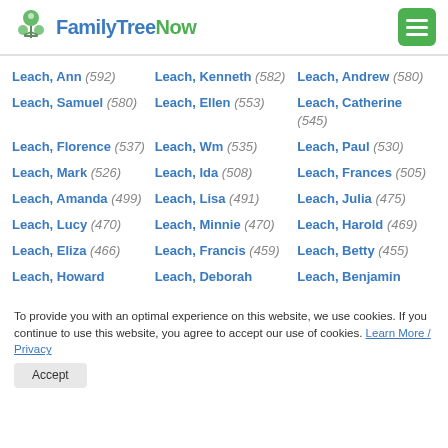FamilyTreeNow
Leach, Ann (592)
Leach, Kenneth (582)
Leach, Andrew (580)
Leach, Samuel (580)
Leach, Ellen (553)
Leach, Catherine (545)
Leach, Florence (537)
Leach, Wm (535)
Leach, Paul (530)
Leach, Mark (526)
Leach, Ida (508)
Leach, Frances (505)
Leach, Amanda (499)
Leach, Lisa (491)
Leach, Julia (475)
Leach, Lucy (470)
Leach, Minnie (470)
Leach, Harold (469)
Leach, Eliza (466)
Leach, Francis (459)
Leach, Betty (455)
Leach, Howard
Leach, Deborah
Leach, Benjamin
To provide you with an optimal experience on this website, we use cookies. If you continue to use this website, you agree to accept our use of cookies. Learn More / Privacy